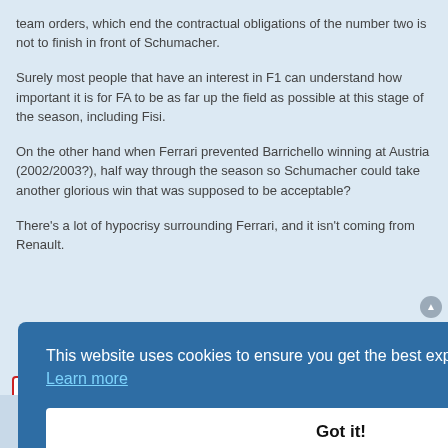team orders, which end the contractual obligations of the number two is not to finish in front of Schumacher.
Surely most people that have an interest in F1 can understand how important it is for FA to be as far up the field as possible at this stage of the season, including Fisi.
On the other hand when Ferrari prevented Barrichello winning at Austria (2002/2003?), half way through the season so Schumacher could take another glorious win that was supposed to be acceptable?
There's a lot of hypocrisy surrounding Ferrari, and it isn't coming from Renault.
Post Reply
16 posts  1  2  ▶
This website uses cookies to ensure you get the best experience on our website.  Learn more
Got it!
F1 Forum • Board Index   Delete cookies   All times are UTC   Powered by phpBB® Forum Software © phpBB Limited   Privacy | Terms